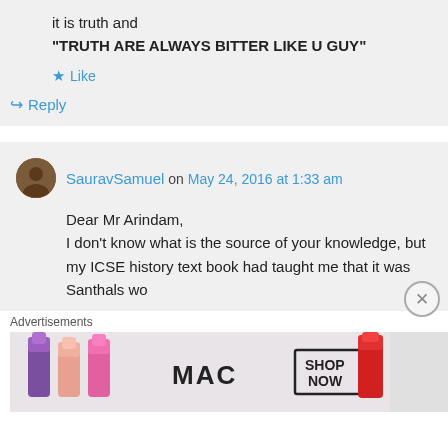it is truth and “TRUTH ARE ALWAYS BITTER LIKE U GUY”
★ Like
↳ Reply
SauravSamuel on May 24, 2016 at 1:33 am
Dear Mr Arindam, I don't know what is the source of your knowledge, but my ICSE history text book had taught me that it was Santhals wo
Advertisements
[Figure (photo): MAC cosmetics advertisement showing lipsticks with SHOP NOW text]